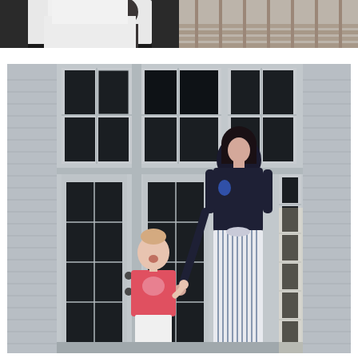[Figure (photo): Top-left photo: partial view of a person in white clothing, dark background, appears to be indoors]
[Figure (photo): Top-right photo: outdoor deck or porch area with wooden planks visible]
[Figure (photo): Large main photo: a woman with dark hair wearing a navy t-shirt and blue-and-white striped wide-leg pants stands in front of a gray French door. A small blonde toddler girl in a pink t-shirt stands next to her, holding the woman's hand and looking up at her. They are standing outside on a sunny day.]